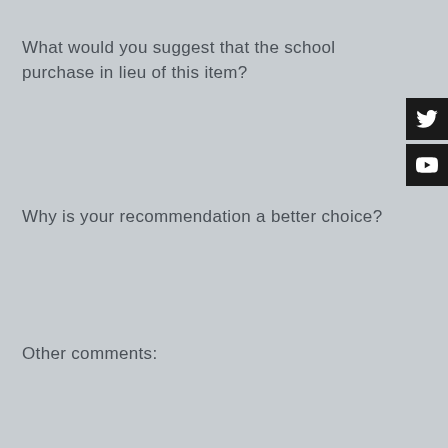What would you suggest that the school purchase in lieu of this item?
Why is your recommendation a better choice?
Other comments:
[Figure (other): Twitter and YouTube social media buttons on the right side of the page]